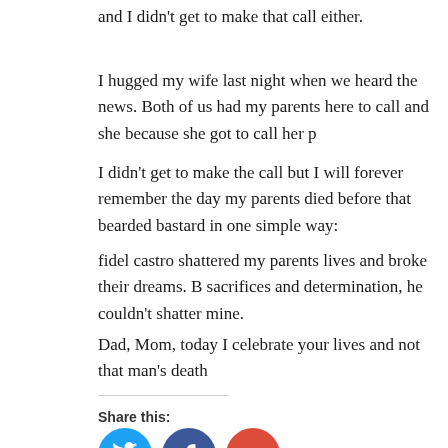and I didn't get to make that call either.
I hugged my wife last night when we heard the news. Both of us had my parents here to call and she because she got to call her p
I didn't get to make the call but I will forever remember the day my parents died before that bearded bastard in one simple way:
fidel castro shattered my parents lives and broke their dreams. B sacrifices and determination, he couldn't shatter mine.
Dad, Mom, today I celebrate your lives and not that man's death
Share this:
[Figure (infographic): Social sharing icons: Twitter (blue circle), Facebook (dark blue circle), Google+ (red circle)]
This entry was posted in Uncategorized. Bookmark the permalink.
Pasado por aqua